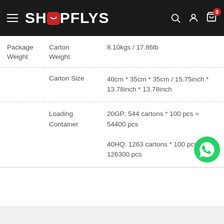SHOPFLYS
|  | Label | Value |
| --- | --- | --- |
| Package Weight | Carton Weight | 8.10kgs / 17.86lb |
|  | Carton Size | 40cm * 35cm * 35cm / 15.75inch * 13.78inch * 13.78inch |
|  | Loading Container | 20GP: 544 cartons * 100 pcs = 54400 pcs
40HQ: 1263 cartons * 100 pcs = 126300 pcs |